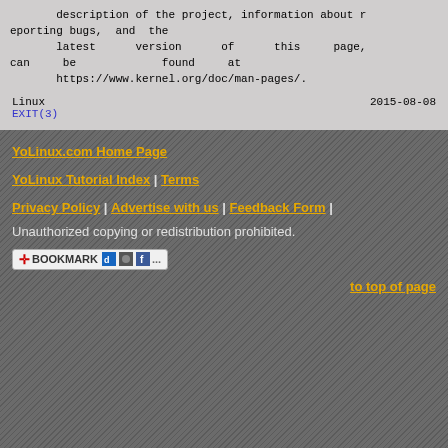description of the project, information about reporting bugs, and the latest version of this page, can be found at https://www.kernel.org/doc/man-pages/.
Linux   2015-08-08
EXIT(3)
YoLinux.com Home Page
YoLinux Tutorial Index | Terms
Privacy Policy | Advertise with us | Feedback Form |
Unauthorized copying or redistribution prohibited.
[Figure (other): Bookmark button with social sharing icons (del.icio.us, digg, facebook)]
to top of page